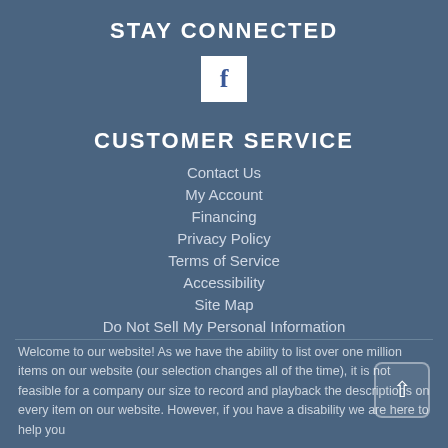STAY CONNECTED
[Figure (logo): Facebook icon - white square with blue lowercase f letter]
CUSTOMER SERVICE
Contact Us
My Account
Financing
Privacy Policy
Terms of Service
Accessibility
Site Map
Do Not Sell My Personal Information
Welcome to our website! As we have the ability to list over one million items on our website (our selection changes all of the time), it is not feasible for a company our size to record and playback the descriptions on every item on our website. However, if you have a disability we are here to help you